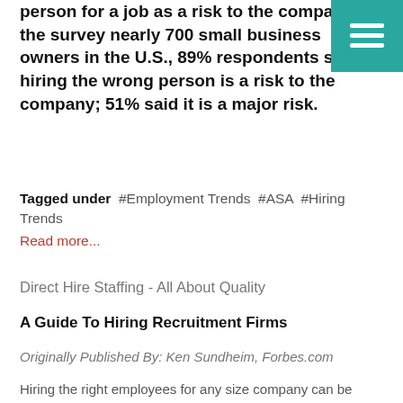person for a job as a risk to the company. In the survey nearly 700 small business owners in the U.S., 89% respondents said hiring the wrong person is a risk to the company; 51% said it is a major risk.
Tagged under #Employment Trends #ASA #Hiring Trends
Read more...
Direct Hire Staffing - All About Quality
A Guide To Hiring Recruitment Firms
Originally Published By: Ken Sundheim, Forbes.com
Hiring the right employees for any size company can be extremely difficult and very time consuming. Nevertheless